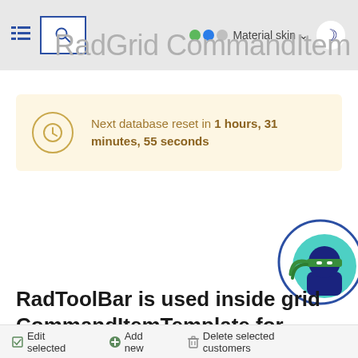RadGrid CommandItem
Next database reset in 1 hours, 31 minutes, 55 seconds
[Figure (illustration): Ninja character avatar inside a blue oval border on the right side]
RadToolBar is used inside grid CommandItemTemplate for customizing the content
Edit selected  Add new  Delete selected customers